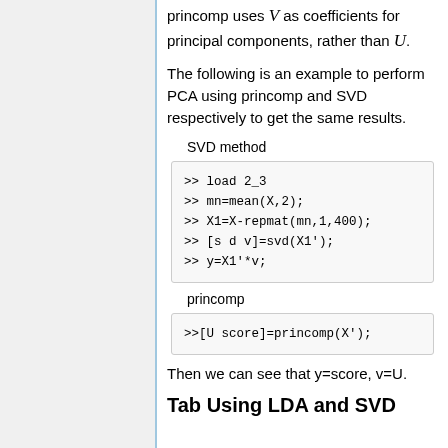princomp uses V as coefficients for principal components, rather than U.
The following is an example to perform PCA using princomp and SVD respectively to get the same results.
SVD method
>> load 2_3
>> mn=mean(X,2);
>> X1=X-repmat(mn,1,400);
>> [s d v]=svd(X1');
>> y=X1'*v;
princomp
>>[U score]=princomp(X');
Then we can see that y=score, v=U.
Tab Using LDA and SVD